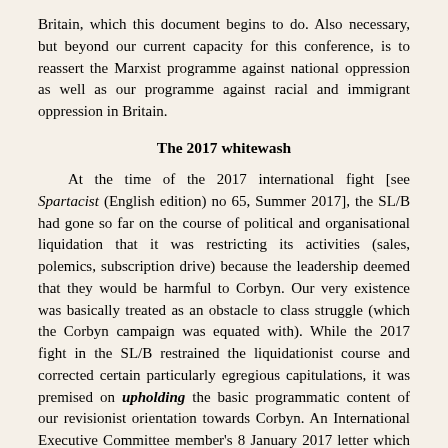Britain, which this document begins to do. Also necessary, but beyond our current capacity for this conference, is to reassert the Marxist programme against national oppression as well as our programme against racial and immigrant oppression in Britain.
The 2017 whitewash
At the time of the 2017 international fight [see Spartacist (English edition) no 65, Summer 2017], the SL/B had gone so far on the course of political and organisational liquidation that it was restricting its activities (sales, polemics, subscription drive) because the leadership deemed that they would be harmful to Corbyn. Our very existence was basically treated as an obstacle to class struggle (which the Corbyn campaign was equated with). While the 2017 fight in the SL/B restrained the liquidationist course and corrected certain particularly egregious capitulations, it was premised on upholding the basic programmatic content of our revisionist orientation towards Corbyn. An International Executive Committee member's 8 January 2017 letter which oriented the fight started off by stating, “In my opinion, the SL/B had generally been doing a good job in addressing Corbyn and the EU/Brexit.”
The SL/B’s January 2017 CC motion totally whitewashed the section’s opportunist Corbyn campaign, claiming it was “premised on maintaining political independence from Corbyn’s